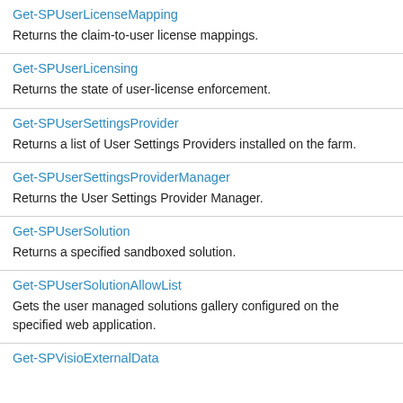| Command | Description |
| --- | --- |
| Get-SPUserLicenseMapping | Returns the claim-to-user license mappings. |
| Get-SPUserLicensing | Returns the state of user-license enforcement. |
| Get-SPUserSettingsProvider | Returns a list of User Settings Providers installed on the farm. |
| Get-SPUserSettingsProviderManager | Returns the User Settings Provider Manager. |
| Get-SPUserSolution | Returns a specified sandboxed solution. |
| Get-SPUserSolutionAllowList | Gets the user managed solutions gallery configured on the specified web application. |
| Get-SPVisioExternalData |  |